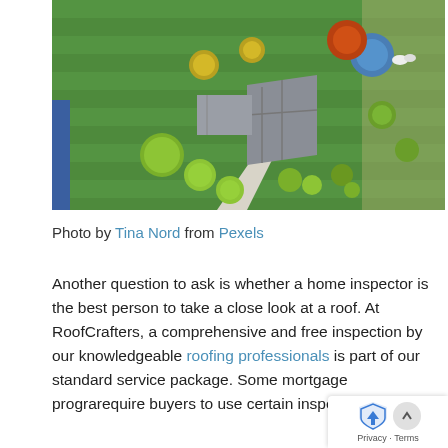[Figure (photo): Aerial/drone view of a house with gray roof surrounded by green lawn, trees, and a white driveway path, photographed from directly above]
Photo by Tina Nord from Pexels
Another question to ask is whether a home inspector is the best person to take a close look at a roof. At RoofCrafters, a comprehensive and free inspection by our knowledgeable roofing professionals is part of our standard service package. Some mortgage programs require buyers to use certain inspectors, and our